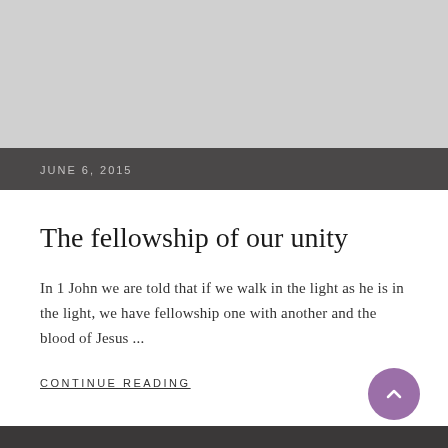[Figure (other): Gray placeholder image area at the top of the page]
JUNE 6, 2015
The fellowship of our unity
In 1 John we are told that if we walk in the light as he is in the light, we have fellowship one with another and the blood of Jesus ...
CONTINUE READING